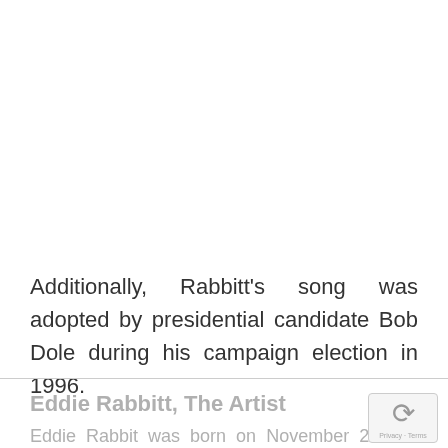Additionally, Rabbitt's song was adopted by presidential candidate Bob Dole during his campaign election in 1996.
Eddie Rabbitt, The Artist
Eddie Rabbit was born on November 27